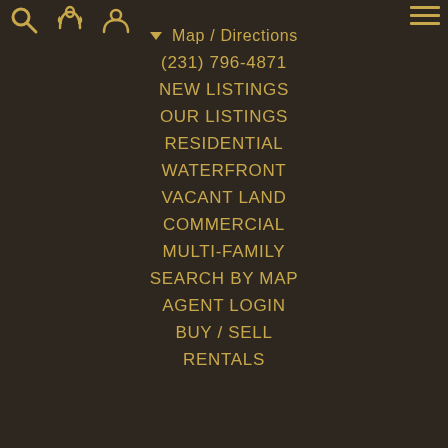Map / Directions
(231) 796-4871
NEW LISTINGS
OUR LISTINGS
RESIDENTIAL
WATERFRONT
VACANT LAND
COMMERCIAL
MULTI-FAMILY
SEARCH BY MAP
AGENT LOGIN
BUY / SELL
RENTALS